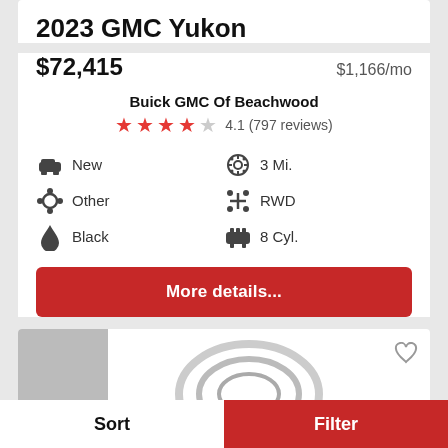2023 GMC Yukon
$72,415   $1,166/mo
Buick GMC Of Beachwood
4.1 (797 reviews)
New
3 Mi.
Other
RWD
Black
8 Cyl.
More details...
[Figure (photo): Partial view of a car listing image, bottom portion cropped]
Sort   Filter